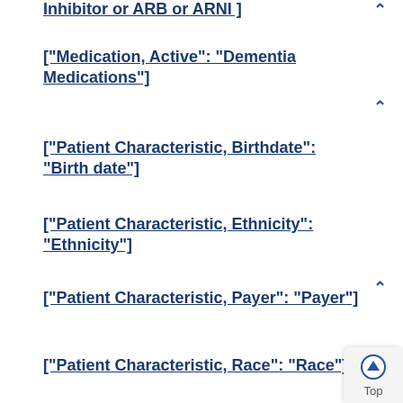["Medication, Active": "Dementia Medications"]
["Patient Characteristic, Birthdate": "Birth date"]
["Patient Characteristic, Ethnicity": "Ethnicity"]
["Patient Characteristic, Payer": "Payer"]
["Patient Characteristic, Race": "Race"]
["Patient Characteristic, Sex": "ONC Administrative Sex"]
["Procedure, Performed"...